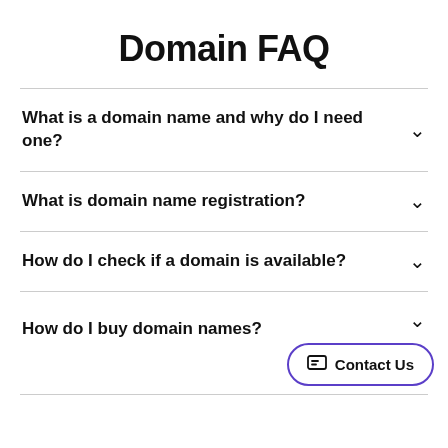Domain FAQ
What is a domain name and why do I need one?
What is domain name registration?
How do I check if a domain is available?
How do I buy domain names?